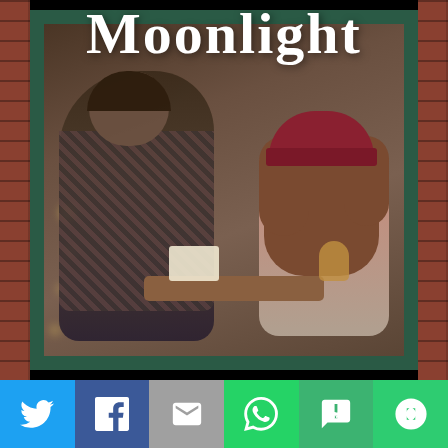[Figure (illustration): Book cover titled 'Moonlight' showing two people (a man in plaid and a woman in a red beanie) sitting at a cafe table, viewed through a green-framed window set in a brick wall. White cursive 'Moonlight' text overlays the top of the image.]
[Figure (infographic): Social sharing button bar with six buttons: Twitter (blue bird icon), Facebook (dark blue f icon), Email (gray envelope icon), WhatsApp (green phone icon), SMS (green SMS icon), More (green circular arrows icon).]